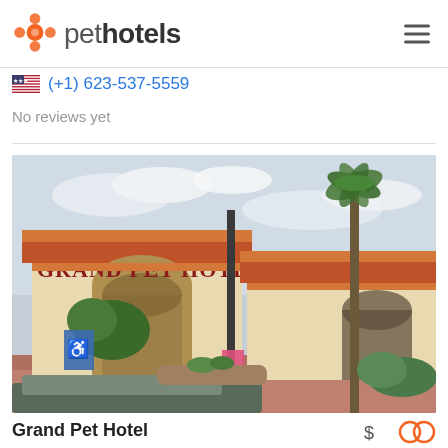pethotels
(+1) 623-537-5559
No reviews yet
[Figure (photo): Exterior photo of Grand Pet Hotel building, showing southwest-style architecture with terra cotta roof tiles, stucco walls, arched entryway with 'GRAND PET HOTEL' signage in red letters, a tall palm tree, street lamp, handicap parking sign, pink sign on lamp post, parked car visible in foreground, desert landscaping.]
Grand Pet Hotel